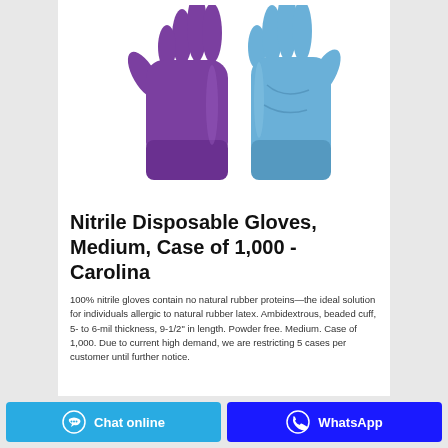[Figure (photo): Two nitrile disposable gloves: one purple/violet glove on the left and one blue glove on the right, both shown palm-facing with fingers extended upward against a white background.]
Nitrile Disposable Gloves, Medium, Case of 1,000 - Carolina
100% nitrile gloves contain no natural rubber proteins—the ideal solution for individuals allergic to natural rubber latex. Ambidextrous, beaded cuff, 5- to 6-mil thickness, 9-1/2" in length. Powder free. Medium. Case of 1,000. Due to current high demand, we are restricting 5 cases per customer until further notice.
Chat online | WhatsApp